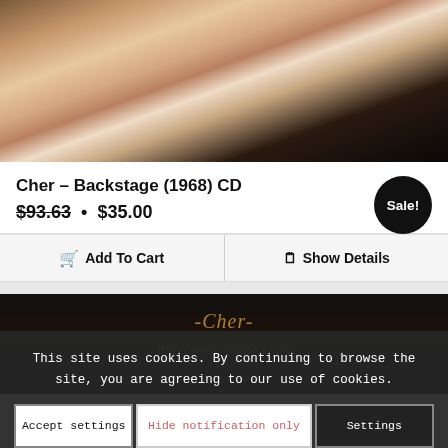[Figure (photo): Backstage photo of people, dark background with warm tones, partial view of figures in a dimly lit setting]
Cher – Backstage (1968) CD
$93.63 • $35.00 Sale!
Add To Cart   Show Details
[Figure (photo): Dark image with Cher logo text and 'Bittersweet White Light' text in golden italic lettering]
This site uses cookies. By continuing to browse the site, you are agreeing to our use of cookies.
Accept settings   Hide notification only   Settings